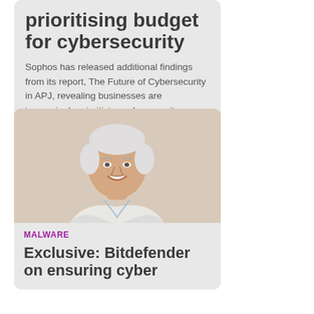prioritising budget for cybersecurity
Sophos has released additional findings from its report, The Future of Cybersecurity in APJ, revealing businesses are increasingly prioritising cybersecurity.
[Figure (photo): Portrait photo of a middle-aged man with white/grey hair wearing a white blazer and light blue shirt, smiling, against a beige/cream background.]
MALWARE
Exclusive: Bitdefender on ensuring cyber